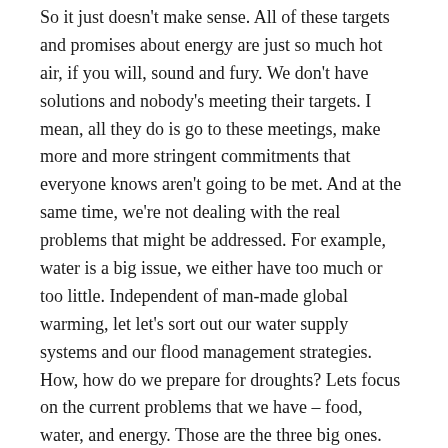So it just doesn't make sense. All of these targets and promises about energy are just so much hot air, if you will, sound and fury. We don't have solutions and nobody's meeting their targets. I mean, all they do is go to these meetings, make more and more stringent commitments that everyone knows aren't going to be met. And at the same time, we're not dealing with the real problems that might be addressed. For example, water is a big issue, we either have too much or too little. Independent of man-made global warming, let let's sort out our water supply systems and our flood management strategies. How, how do we prepare for droughts? Lets focus on the current problems that we have – food, water, and energy. Those are the three big ones.
And the other thing, while we're trying to make